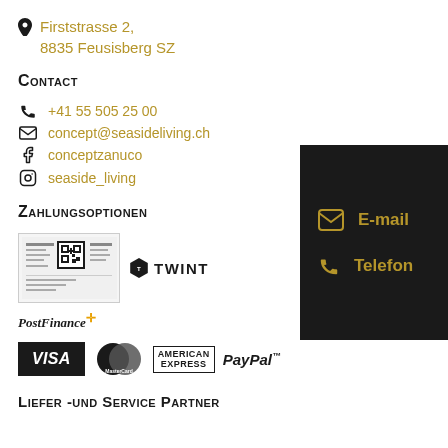Firststrasse 2, 8835 Feusisberg SZ
Contact
+41 55 505 25 00
concept@seasideliving.ch
conceptzanuco
seaside_living
[Figure (infographic): Dark panel with E-mail and Telefon contact icons in gold on black background]
Zahlungsoptionen
[Figure (infographic): Payment method logos: QR bill, Twint, PostFinance, Visa, MasterCard, American Express, PayPal]
Liefer -und Service Partner